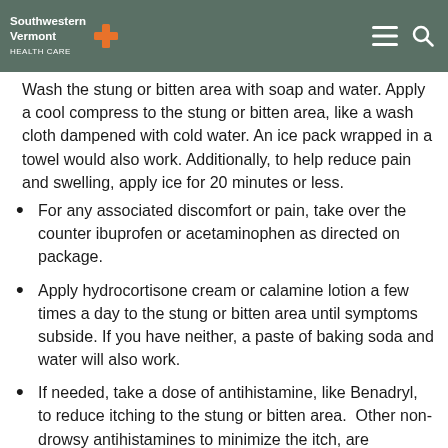Southwestern Vermont Health Care
Wash the stung or bitten area with soap and water. Apply a cool compress to the stung or bitten area, like a wash cloth dampened with cold water. An ice pack wrapped in a towel would also work. Additionally, to help reduce pain and swelling, apply ice for 20 minutes or less.
For any associated discomfort or pain, take over the counter ibuprofen or acetaminophen as directed on package.
Apply hydrocortisone cream or calamine lotion a few times a day to the stung or bitten area until symptoms subside. If you have neither, a paste of baking soda and water will also work.
If needed, take a dose of antihistamine, like Benadryl, to reduce itching to the stung or bitten area.  Other non- drowsy antihistamines to minimize the itch, are cetirizine (Zyrtec), fexofenadine (Allegra) or loratidine (Claritin.)
Avoid scratching, as the breaks in the skin that result can become infected. If you cannot help scratching, rub the area gently with your finger pads, instead of